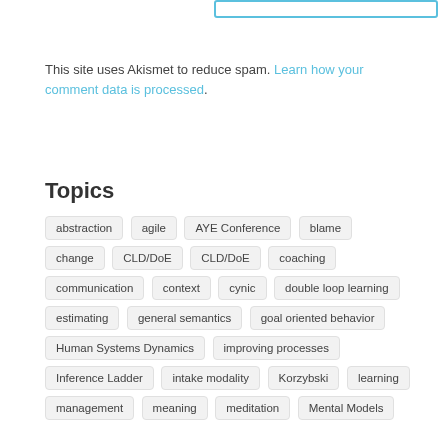This site uses Akismet to reduce spam. Learn how your comment data is processed.
Topics
abstraction
agile
AYE Conference
blame
change
CLD/DoE
CLD/DoE
coaching
communication
context
cynic
double loop learning
estimating
general semantics
goal oriented behavior
Human Systems Dynamics
improving processes
Inference Ladder
intake modality
Korzybski
learning
management
meaning
meditation
Mental Models